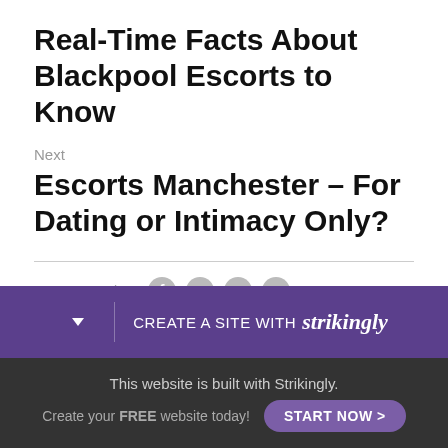Real-Time Facts About Blackpool Escorts to Know
Next
Escorts Manchester – For Dating or Intimacy Only?
< Return to site
[Figure (other): Social sharing icons: Facebook, Twitter, LinkedIn, Email]
Powered by Strikingly
[Figure (other): Strikingly banner: CREATE A SITE WITH strikingly]
This website is built with Strikingly. Create your FREE website today! START NOW >